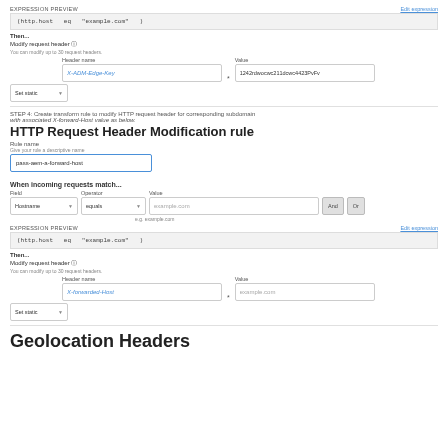Expression Preview
Edit expression
(http.host   eq   "example.com"   )
Then...
Modify request header ⓘ
You can modify up to 30 request headers.
Header name
Value
Set static ▼
X-ADM-Edge-Key
*
1242rdwocwc211dcwc4423PvFv
STEP 4: Create transform rule to modify HTTP request header for corresponding subdomain with associated X-forward-Host value as below.
HTTP Request Header Modification rule
Rule name
Give your rule a descriptive name
pass-aem-a-forward-host
When incoming requests match...
Field
Operator
Value
Hostname ▼
equals ▼
example.com
And
Or
e.g. example.com
EXPRESSION PREVIEW
Edit expression
(http.host   eq   "example.com"   )
Then...
Modify request header ⓘ
You can modify up to 30 request headers.
Header name
Value
Set static ▼
X-forwarded-Host
*
example.com
Geolocation Headers